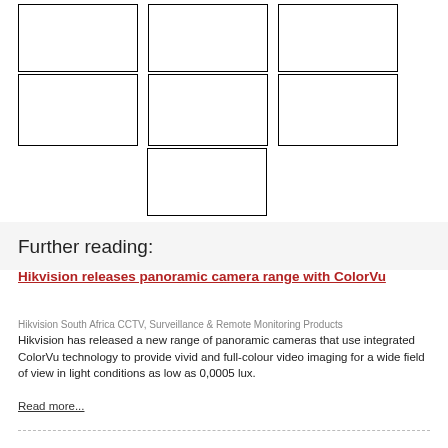[Figure (other): Grid of 7 empty image placeholder boxes arranged in 3 rows (2 rows of 3, 1 row with 1 centered box)]
Further reading:
Hikvision releases panoramic camera range with ColorVu
Hikvision South Africa CCTV, Surveillance & Remote Monitoring Products
Hikvision has released a new range of panoramic cameras that use integrated ColorVu technology to provide vivid and full-colour video imaging for a wide field of view in light conditions as low as 0,0005 lux.
Read more...